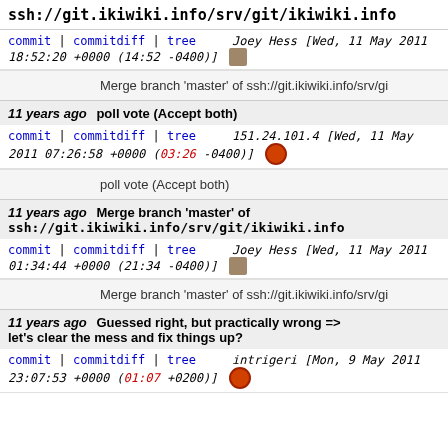ssh://git.ikiwiki.info/srv/git/ikiwiki.info
commit | commitdiff | tree   Joey Hess [Wed, 11 May 2011 18:52:20 +0000 (14:52 -0400)]
Merge branch 'master' of ssh://git.ikiwiki.info/srv/gi
11 years ago   poll vote (Accept both)
commit | commitdiff | tree   151.24.101.4 [Wed, 11 May 2011 07:26:58 +0000 (03:26 -0400)]
poll vote (Accept both)
11 years ago   Merge branch 'master' of ssh://git.ikiwiki.info/srv/git/ikiwiki.info
commit | commitdiff | tree   Joey Hess [Wed, 11 May 2011 01:34:44 +0000 (21:34 -0400)]
Merge branch 'master' of ssh://git.ikiwiki.info/srv/gi
11 years ago   Guessed right, but practically wrong => let's clear the mess and fix things up?
commit | commitdiff | tree   intrigeri [Mon, 9 May 2011 23:07:53 +0000 (01:07 +0200)]